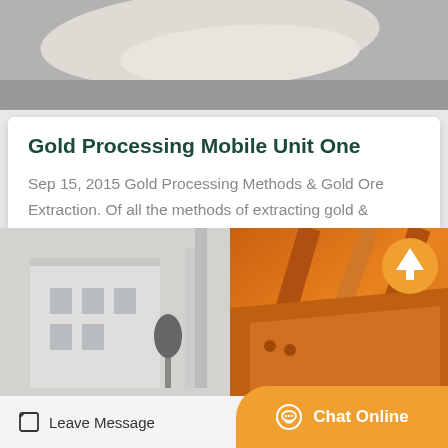[Figure (photo): Top photo showing a light-colored sandy or mineral surface in grayscale]
Gold Processing Mobile Unit One
Sep 15, 2015 Gold Processing Methods & Gold Ore Extraction. Of all the methods of extracting gold & processing it from its ore, I used a few to evaluate two…
Get Price
[Figure (photo): Bottom photo showing an industrial building on the left and orange mining/processing equipment on the right]
Leave Message
Chat Online